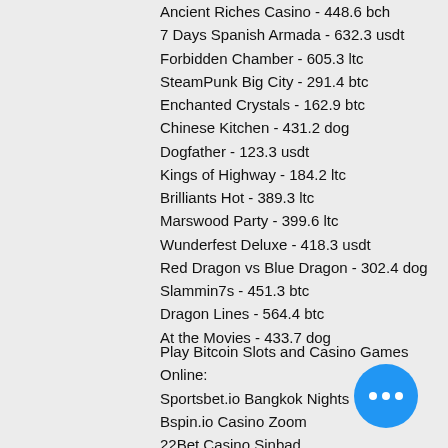Ancient Riches Casino - 448.6 bch
7 Days Spanish Armada - 632.3 usdt
Forbidden Chamber - 605.3 ltc
SteamPunk Big City - 291.4 btc
Enchanted Crystals - 162.9 btc
Chinese Kitchen - 431.2 dog
Dogfather - 123.3 usdt
Kings of Highway - 184.2 ltc
Brilliants Hot - 389.3 ltc
Marswood Party - 399.6 ltc
Wunderfest Deluxe - 418.3 usdt
Red Dragon vs Blue Dragon - 302.4 dog
Slammin7s - 451.3 btc
Dragon Lines - 564.4 btc
At the Movies - 433.7 dog
Play Bitcoin Slots and Casino Games Online:
Sportsbet.io Bangkok Nights
Bspin.io Casino Zoom
22Bet Casino Sinbad